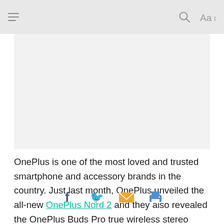Navigation header with hamburger menu, search, and font controls
[Figure (photo): Light gray image placeholder rectangle]
OnePlus is one of the most loved and trusted smartphone and accessory brands in the country. Just last month, OnePlus unveiled the all-new OnePlus Nord 2 and they also revealed the OnePlus Buds Pro true wireless stereo earbuds. The tech giant has finally launched the much-awaited OnePlus Buds Pro in India with a price tag of Rs. 9,990. Carrying forward the tradition of OnePlus Buds Pro would be sold via Amazon, the OnePlus official website, and the